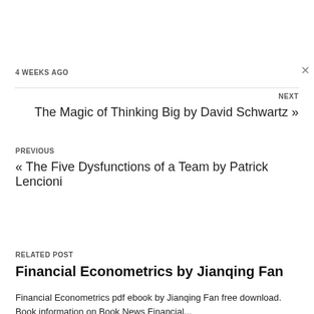4 WEEKS AGO
×
NEXT
The Magic of Thinking Big by David Schwartz »
PREVIOUS
« The Five Dysfunctions of a Team by Patrick Lencioni
RELATED POST
Financial Econometrics by Jianqing Fan
Financial Econometrics pdf ebook by Jianqing Fan free download. Book information on Book News Financial...